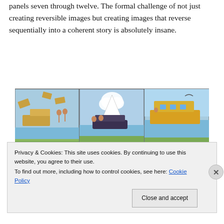panels seven through twelve. The formal challenge of not just creating reversible images but creating images that reverse sequentially into a coherent story is absolutely insane.
[Figure (illustration): A comic strip shown upside-down with reversed title text reading 'THE MERMAID and THE FLOATING MAN', 'OLD MAN MUFFAROO', 'UPSIDE-DOWNS of LITTLE LADY LOVEKINS'. Three panels show cartoon characters building a houseboat, a finished tent/boat scene, and a floating houseboat on a river.]
Privacy & Cookies: This site uses cookies. By continuing to use this website, you agree to their use.
To find out more, including how to control cookies, see here: Cookie Policy
Close and accept